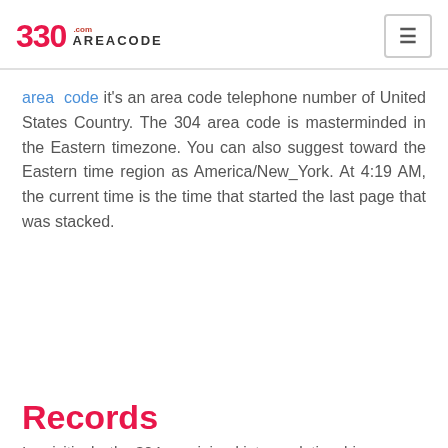330 AREACODE.com
area code it's an area code telephone number of United States Country. The 304 area code is masterminded in the Eastern timezone. You can also suggest toward the Eastern time region as America/New_York. At 4:19 AM, the current time is the time that started the last page that was stacked.
[Figure (illustration): Pink decorative blob shape with a Buy Now button overlaid]
Records
Inquisitively, the 304 was joined into a relationship on